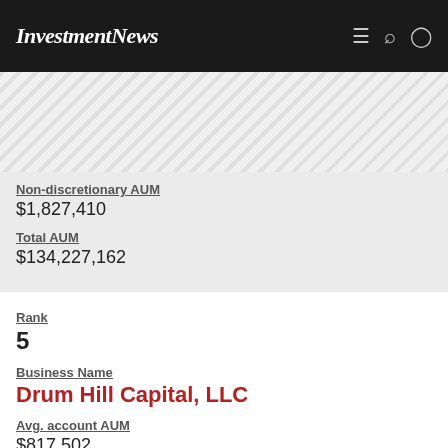InvestmentNews
Non-discretionary AUM
$1,827,410
Total AUM
$134,227,162
Rank
5
Business Name
Drum Hill Capital, LLC
Avg. account AUM
$817,502
Discretionary AUM
$137,527,548
Non-discretionary AUM
$16,162,898